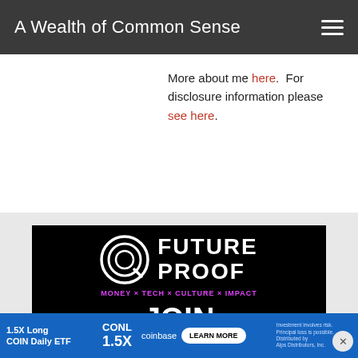A Wealth of Common Sense
More about me here. For disclosure information please see here.
[Figure (advertisement): Future Proof festival advertisement on black background. Logo with circular 'a' icon and 'FUTURE PROOF' text. Tagline: MONEY × TECH × CULTURE × IMPACT. Large text: JOIN 3,000+ INVESTORS]
[Figure (advertisement): Coinbase CONL 1.5X Long COIN Daily ETF advertisement on blue background with Learn More button.]